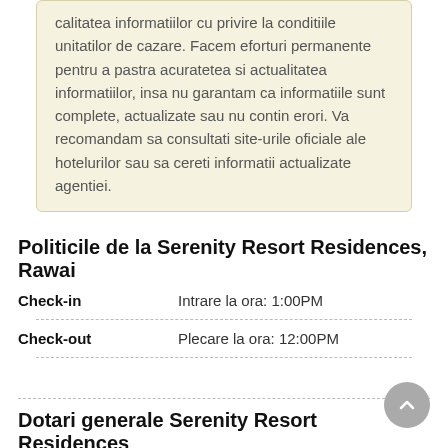calitatea informatiilor cu privire la conditiile unitatilor de cazare. Facem eforturi permanente pentru a pastra acuratetea si actualitatea informatiilor, insa nu garantam ca informatiile sunt complete, actualizate sau nu contin erori. Va recomandam sa consultati site-urile oficiale ale hotelurilor sau sa cereti informatii actualizate agentiei.
Politicile de la Serenity Resort Residences, Rawai
Check-in	Intrare la ora: 1:00PM
Check-out	Plecare la ora: 12:00PM
Dotari generale Serenity Resort Residences
Located on a main street, 2008: Year of construction, 4: Number of floors (main building), 4: Number of floors (annex building), 78: Total number of rooms, 0: Single rooms, 18: Double / twin rooms